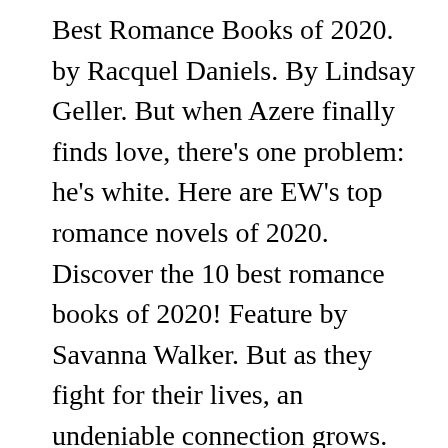Best Romance Books of 2020. by Racquel Daniels. By Lindsay Geller. But when Azere finally finds love, there's one problem: he's white. Here are EW's top romance novels of 2020. Discover the 10 best romance books of 2020! Feature by Savanna Walker. But as they fight for their lives, an undeniable connection grows. We really hope that you ... Is your favorite on the list? The best romance novels of 2020 (so far!) Whether missing hugs, dinner dates or cozy nights, romance was certainly thrown out the window for a lot of people. And while the two vow to keep their relationship strictly professional, resistance gives way to passion. Best Books of the Year 2020. They each got us through an